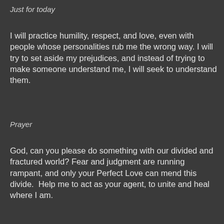Just for today
I will practice humility, respect, and love, even with people whose personalities rub me the wrong way. I will try to set aside my prejudices, and instead of trying to make someone understand me, I will seek to understand them.
Prayer
God, can you please do something with our divided and fractured world? Fear and judgment are running rampant, and only your Perfect Love can mend this divide.  Help me to act as your agent, to unite and heal where I am.